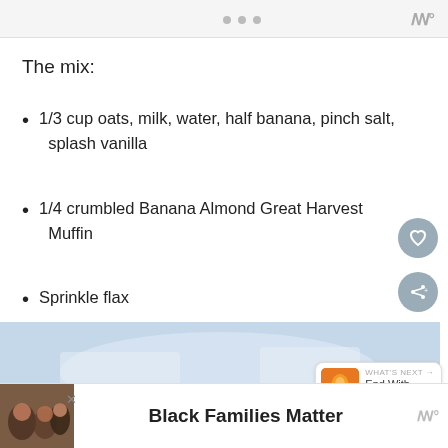• • •  ꟿ°
The mix:
1/3 cup oats, milk, water, half banana, pinch salt, splash vanilla
1/4 crumbled Banana Almond Great Harvest Muffin
Sprinkle flax
Spoonful Maranatha Almond Butter
[Figure (photo): Partial view of a food/breakfast photo at the bottom of the page]
[Figure (photo): Advertisement photo showing people (Black Families Matter ad)]
Black Families Matter